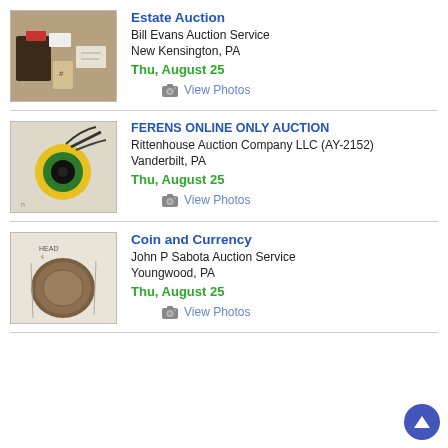[Figure (photo): Photo of estate auction items on a table]
Estate Auction
Bill Evans Auction Service
New Kensington, PA
Thu, August 25
View Photos
[Figure (photo): Photo of a yellow and green circular tool/object]
FERENS ONLINE ONLY AUCTION
Rittenhouse Auction Company LLC (AY-2152)
Vanderbilt, PA
Thu, August 25
View Photos
[Figure (photo): Photo of an old coin with HEAD text visible]
Coin and Currency
John P Sabota Auction Service
Youngwood, PA
Thu, August 25
View Photos